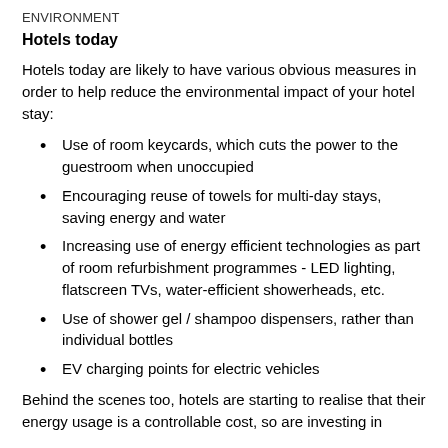ENVIRONMENT
Hotels today
Hotels today are likely to have various obvious measures in order to help reduce the environmental impact of your hotel stay:
Use of room keycards, which cuts the power to the guestroom when unoccupied
Encouraging reuse of towels for multi-day stays, saving energy and water
Increasing use of energy efficient technologies as part of room refurbishment programmes - LED lighting, flatscreen TVs, water-efficient showerheads, etc.
Use of shower gel / shampoo dispensers, rather than individual bottles
EV charging points for electric vehicles
Behind the scenes too, hotels are starting to realise that their energy usage is a controllable cost, so are investing in